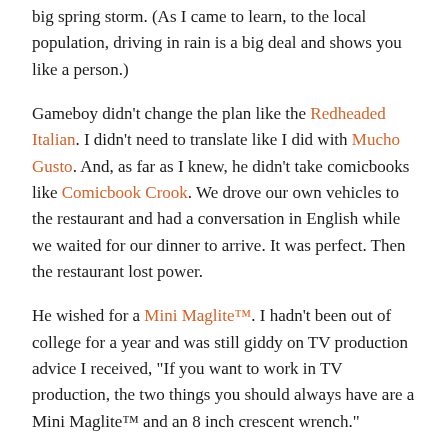big spring storm. (As I came to learn, to the local population, driving in rain is a big deal and shows you like a person.)
Gameboy didn't change the plan like the Redheaded Italian. I didn't need to translate like I did with Mucho Gusto. And, as far as I knew, he didn't take comicbooks like Comicbook Crook. We drove our own vehicles to the restaurant and had a conversation in English while we waited for our dinner to arrive. It was perfect. Then the restaurant lost power.
He wished for a Mini Maglite™. I hadn't been out of college for a year and was still giddy on TV production advice I received, “If you want to work in TV production, the two things you should always have are a Mini Maglite™ and an 8 inch crescent wrench.”
I have both in my purse.
I rummaged in my purse and pulled out the Mini Maglite™.